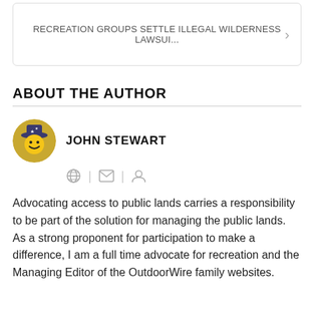RECREATION GROUPS SETTLE ILLEGAL WILDERNESS LAWSUI...
ABOUT THE AUTHOR
[Figure (illustration): Circular avatar of John Stewart: smiley face with hat icon]
JOHN STEWART
[Figure (other): Author social icons: globe, envelope, person]
Advocating access to public lands carries a responsibility to be part of the solution for managing the public lands.  As a strong proponent for participation to make a difference, I am a full time advocate for recreation and the Managing Editor of the OutdoorWire family websites.